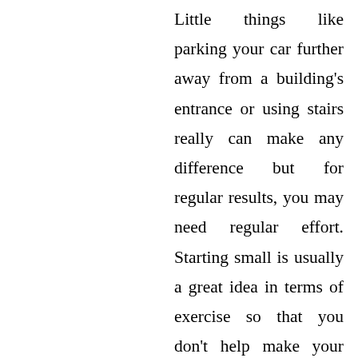Little things like parking your car further away from a building's entrance or using stairs really can make any difference but for regular results, you may need regular effort. Starting small is usually a great idea in terms of exercise so that you don't help make your lower back pain worse, so talk with your doctor or physical therapist about short exercises that can be done at home to produce your